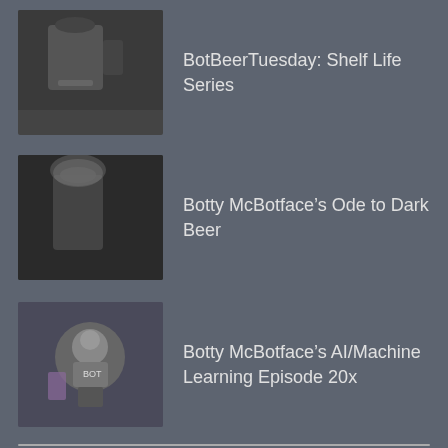BotBeerTuesday: Shelf Life Series
Botty McBotface's Ode to Dark Beer
Botty McBotface's AI/Machine Learning Episode 20x
Mets On Tap Episode 18
Beer Review: Green Tea Bourbon Barrel Aged Imperial Stout